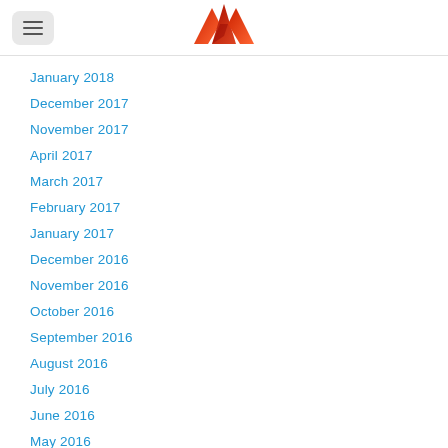[Figure (logo): Red origami crown/mountain logo centered in the page header]
January 2018
December 2017
November 2017
April 2017
March 2017
February 2017
January 2017
December 2016
November 2016
October 2016
September 2016
August 2016
July 2016
June 2016
May 2016
April 2016
March 2016
February 2016